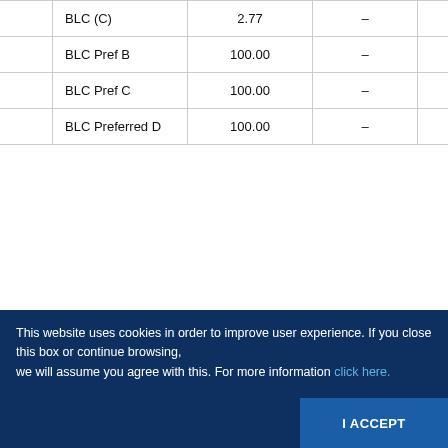|  | Security | Price | Change | Change% |
| --- | --- | --- | --- | --- |
|  | BLC (C) | 2.77 | – | – |
|  | BLC Pref B | 100.00 | – | – |
|  | BLC Pref C | 100.00 | – | – |
|  | BLC Preferred D | 100.00 | – | – |
This website uses cookies in order to improve user experience. If you close this box or continue browsing, we will assume you agree with this. For more information click here.